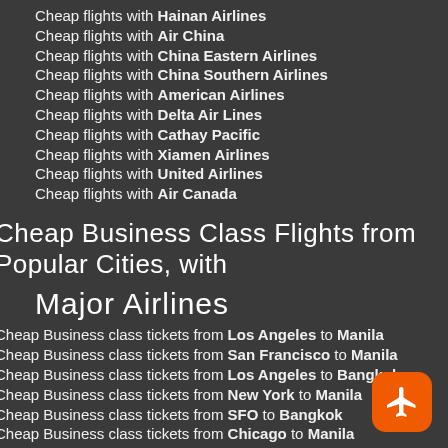Cheap flights with Hainan Airlines
Cheap flights with Air China
Cheap flights with China Eastern Airlines
Cheap flights with China Southern Airlines
Cheap flights with American Airlines
Cheap flights with Delta Air Lines
Cheap flights with Cathay Pacific
Cheap flights with Xiamen Airlines
Cheap flights with United Airlines
Cheap flights with Air Canada
Cheap Business Class Flights from Popular Cities, with Major Airlines
Cheap Business class tickets from Los Angeles to Manila
Cheap Business class tickets from San Francisco to Manila
Cheap Business class tickets from Los Angeles to Bangkok
Cheap Business class tickets from New York to Manila
Cheap Business class tickets from SFO to Bangkok
Cheap Business class tickets from Chicago to Manila
Cheap Business class tickets from Newark to Manila
Cheap Business class tickets from Las Vegas to Manila